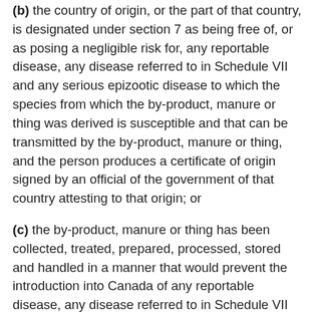(b) the country of origin, or the part of that country, is designated under section 7 as being free of, or as posing a negligible risk for, any reportable disease, any disease referred to in Schedule VII and any serious epizootic disease to which the species from which the by-product, manure or thing was derived is susceptible and that can be transmitted by the by-product, manure or thing, and the person produces a certificate of origin signed by an official of the government of that country attesting to that origin; or
(c) the by-product, manure or thing has been collected, treated, prepared, processed, stored and handled in a manner that would prevent the introduction into Canada of any reportable disease, any disease referred to in Schedule VII and any serious epizootic disease to which the species from which the by-product, manure or thing was derived is susceptible and that can be transmitted by the by-product, manure or thing,